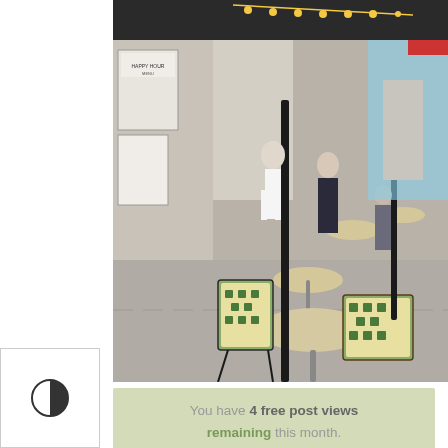[Figure (photo): Outdoor cafe/restaurant terrace on a Parisian-style street. Round wooden tables with green and cream patterned chairs arranged along a sidewalk. String lights hang above. People are visible in the background near the entrance.]
[Figure (other): Sidebar UI buttons: contrast toggle icon (half-filled circle), text size icon (Tt), and upload/move-up icon (arrow pointing up with line)]
You have 4 free post views remaining this month. Become a Member and view posts